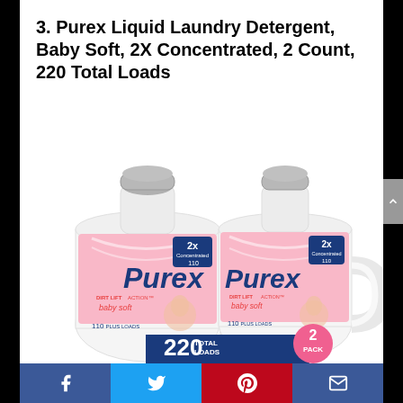3. Purex Liquid Laundry Detergent, Baby Soft, 2X Concentrated, 2 Count, 220 Total Loads
[Figure (photo): Two Purex Baby Soft 2X Concentrated laundry detergent bottles side by side, white bottles with pink labels, showing '220 TOTAL LOADS' and '2 PACK' banner at bottom]
Facebook | Twitter | Pinterest | Email